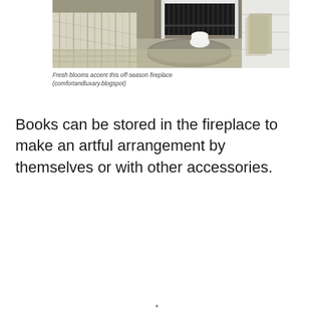[Figure (photo): Interior room photograph showing a striped upholstered chair or sofa on the left, a round dark gray/taupe coffee table in the center with a white round vase on top, a fireplace with black iron grate/screen in the upper center, white built-in shelving on the right, and textured fabric/material samples leaning against the right side.]
Fresh blooms accent this off-season fireplace (comfortandluxary.blogspot)
Books can be stored in the fireplace to make an artful arrangement by themselves or with other accessories.